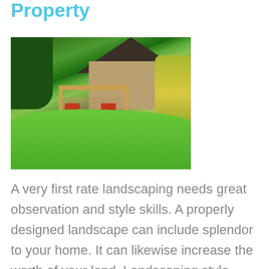Property
[Figure (photo): Aerial view of a backyard with a wooden pergola, red patio furniture, a green lawn with curved edges, lush surrounding garden plantings, and a house in the background.]
A very first rate landscaping needs great observation and style skills. A properly designed landscape can include splendor to your home. It can likewise increase the worth of your land. Landscaping style ideas